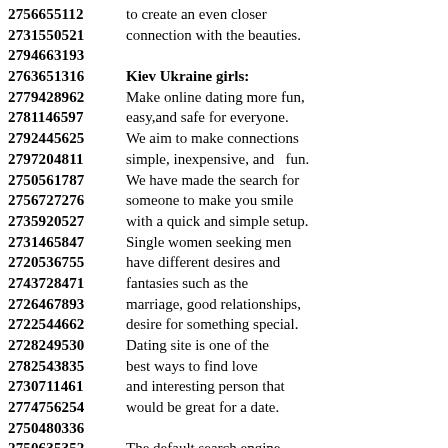2756655112 to create an even closer
2731550521 connection with the beauties.
2794663193
2763651316 Kiev Ukraine girls:
2779428962 Make online dating more fun,
2781146597 easy,and safe for everyone.
2792445625 We aim to make connections
2797204811 simple, inexpensive, and fun.
2750561787 We have made the search for
2756727276 someone to make you smile
2735920527 with a quick and simple setup.
2731465847 Single women seeking men
2720536755 have different desires and
2743728471 fantasies such as the
2726467893 marriage, good relationships,
2722544662 desire for something special.
2728249530 Dating site is one of the
2782543835 best ways to find love
2730711461 and interesting person that
2774756254 would be great for a date.
2750480336
2750635352 The default search engine
2732600780 makes finding the perfect
2793696123 love and based on your
2786462163 special interests and needs.
2714672731 There are hundreds of people